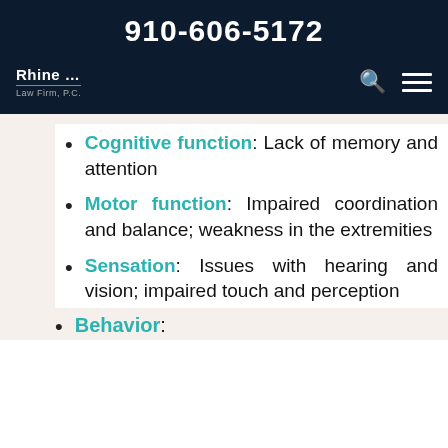910-606-5172
Cognitive function: Lack of memory and attention
Motor function: Impaired coordination and balance; weakness in the extremities
Sensation: Issues with hearing and vision; impaired touch and perception
Behavior: ...